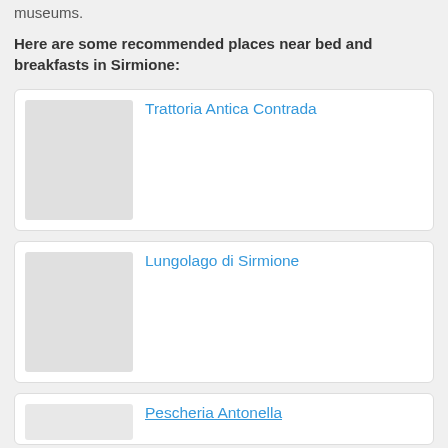museums.
Here are some recommended places near bed and breakfasts in Sirmione:
[Figure (photo): Card with placeholder image for Trattoria Antica Contrada]
Trattoria Antica Contrada
[Figure (photo): Card with placeholder image for Lungolago di Sirmione]
Lungolago di Sirmione
[Figure (photo): Card with placeholder image for Pescheria Antonella]
Pescheria Antonella